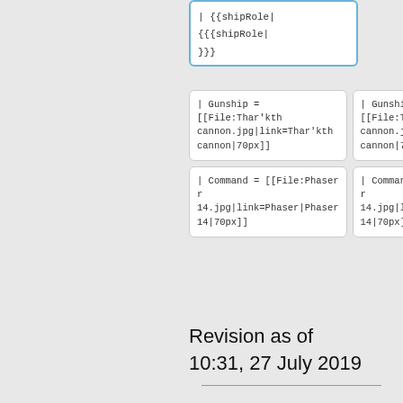| {{shipRole|
{{{shipRole|}}}
| Gunship = [[File:Thar'kth cannon.jpg|link=Thar'kth cannon|70px]]
| Gunship = [[File:Thar'kth cannon.jpg|link=Thar'kth cannon|70px]]
| Command = [[File:Phaser r 14.jpg|link=Phaser|Phaser 14|70px]]
| Command = [[File:Phaser r 14.jpg|link=Phaser|Phaser 14|70px]]
Revision as of 10:31, 27 July 2019